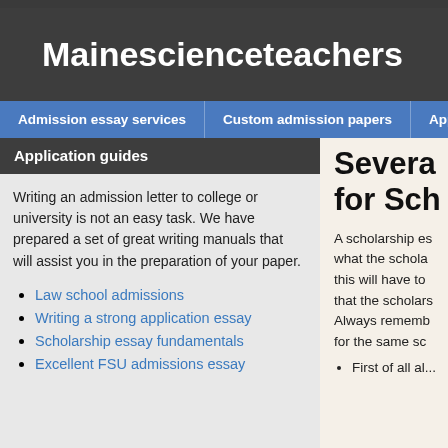Mainescienceteachers
Admission essay services | Custom admission papers | Application...
Application guides
Writing an admission letter to college or university is not an easy task. We have prepared a set of great writing manuals that will assist you in the preparation of your paper.
Law school admissions
Writing a strong application essay
Scholarship essay fundamentals
Excellent FSU admissions essay
Several... for Sch...
A scholarship es... what the schola... this will have to... that the scholars... Always rememb... for the same sc...
First of all al...